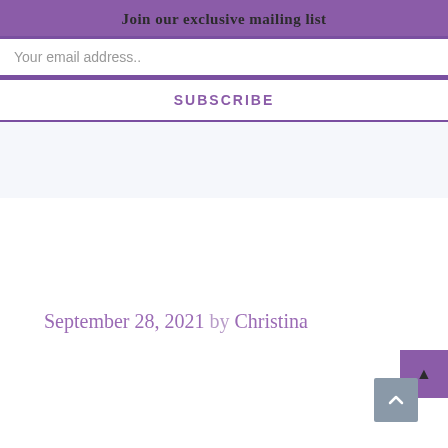Join our exclusive mailing list
Your email address..
SUBSCRIBE
September 28, 2021 by Christina